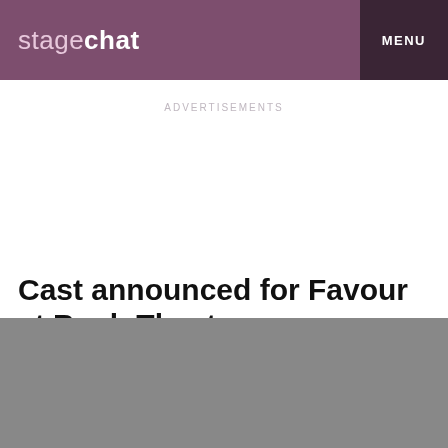stagechat MENU
ADVERTISEMENTS
Cast announced for Favour at Bush Theatre
Posted May 18, 2022 08:00 by Josh Darvill
[Figure (photo): Gray image placeholder below the article header]